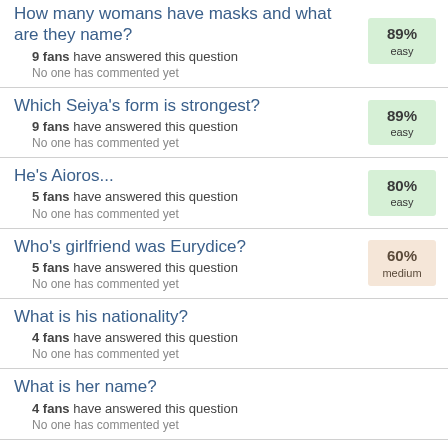How many womans have masks and what are they name?
9 fans have answered this question
No one has commented yet
89% easy
Which Seiya's form is strongest?
9 fans have answered this question
No one has commented yet
89% easy
He's Aioros...
5 fans have answered this question
No one has commented yet
80% easy
Who's girlfriend was Eurydice?
5 fans have answered this question
No one has commented yet
60% medium
What is his nationality?
4 fans have answered this question
No one has commented yet
What is her name?
4 fans have answered this question
No one has commented yet
What is the name of Shiryu's girlfriend?
4 fans have answered this question
No one has commented yet